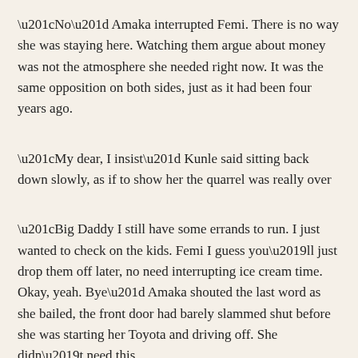“No” Amaka interrupted Femi. There is no way she was staying here. Watching them argue about money was not the atmosphere she needed right now. It was the same opposition on both sides, just as it had been four years ago.
“My dear, I insist” Kunle said sitting back down slowly, as if to show her the quarrel was really over
“Big Daddy I still have some errands to run. I just wanted to check on the kids. Femi I guess you’ll just drop them off later, no need interrupting ice cream time. Okay, yeah. Bye” Amaka shouted the last word as she bailed, the front door had barely slammed shut before she was starting her Toyota and driving off. She didn’t need this.
Amaka Nwafor was not sure of where she was going till she got